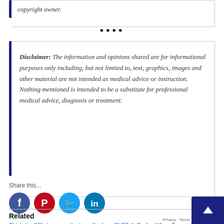copyright owner.
••••
Disclaimer: The information and opinions shared are for informational purposes only including, but not limited to, text, graphics, images and other material are not intended as medical advice or instruction. Nothing mentioned is intended to be a substitute for professional medical advice, diagnosis or treatment.
Share this...
[Figure (infographic): Social media share icons: Facebook (blue circle), Pinterest (red circle with P), Twitter (light blue circle with bird), LinkedIn (blue circle with in)]
Related
Think the FBI deserves the benefit of the doubt? Think...
TLBTalk Radio: When Terrorists Aren't But...